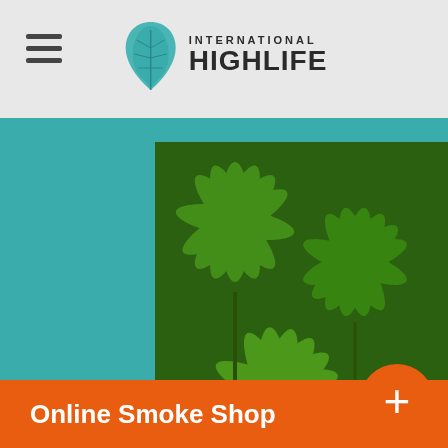International Highlife - website header with hamburger menu and logo
[Figure (photo): Cannabis plants growing indoors with green leaves, split image showing plants on left and dark background on right, set against teal background]
[Figure (logo): International Highlife logo with teal cannabis leaf icon and text]
[Figure (infographic): Social media icons row: Facebook, Instagram, Twitter, Email, YouTube]
About
Categories
Online Smoke Shop
ionalhighlife.com